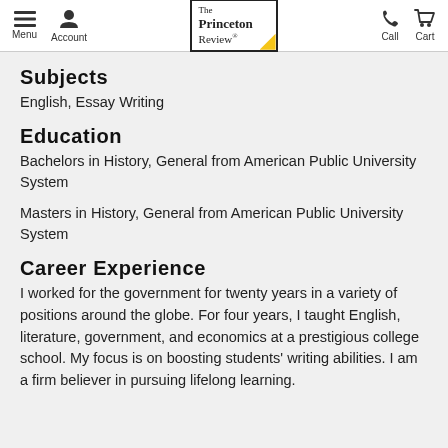Menu  Account  The Princeton Review  Call  Cart
Subjects
English, Essay Writing
Education
Bachelors in History, General from American Public University System
Masters in History, General from American Public University System
Career Experience
I worked for the government for twenty years in a variety of positions around the globe. For four years, I taught English, literature, government, and economics at a prestigious college school. My focus is on boosting students' writing abilities. I am a firm believer in pursuing lifelong learning.